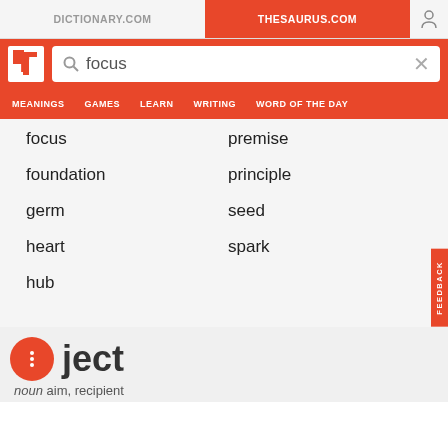DICTIONARY.COM | THESAURUS.COM
[Figure (screenshot): Thesaurus.com website header with search bar showing 'focus' and navigation menu with MEANINGS, GAMES, LEARN, WRITING, WORD OF THE DAY]
focus
premise
foundation
principle
germ
seed
heart
spark
hub
object — noun  aim, recipient